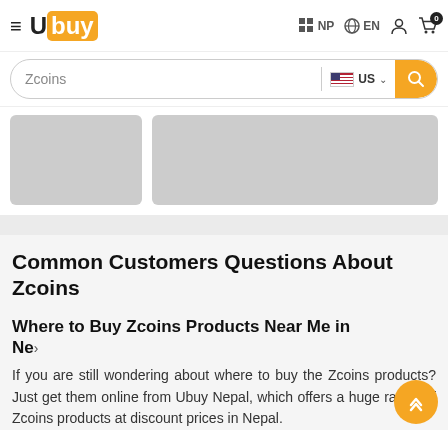[Figure (screenshot): Ubuy e-commerce website header with logo, navigation icons for NP and EN locale, hamburger menu, search bar with 'Zcoins' query and US country selector, and product card placeholders]
Common Customers Questions About Zcoins
Where to Buy Zcoins Products Near Me in Ne
If you are still wondering about where to buy the Zcoins products? Just get them online from Ubuy Nepal, which offers a huge range of Zcoins products at discount prices in Nepal.